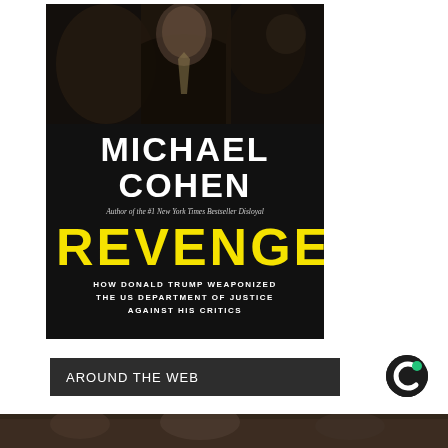[Figure (illustration): Book cover for 'Revenge' by Michael Cohen. Dark background with photo of Michael Cohen in upper portion. Author name 'MICHAEL COHEN' in large white bold text. Subtitle 'Author of the #1 New York Times Bestseller Disloyal' in italic text. Title 'REVENGE' in large yellow bold text. Subtitle text 'HOW DONALD TRUMP WEAPONIZED THE US DEPARTMENT OF JUSTICE AGAINST HIS CRITICS' in white uppercase text.]
AROUND THE WEB
[Figure (logo): Circular logo with dark background, white C shape and green accent — appears to be a content recommendation widget logo (Outbrain or similar).]
[Figure (photo): Partial bottom strip showing what appears to be a thumbnail image, cropped at the bottom of the page.]